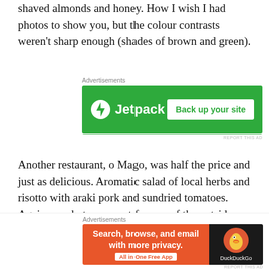shaved almonds and honey. How I wish I had photos to show you, but the colour contrasts weren't sharp enough (shades of brown and green).
[Figure (screenshot): Jetpack advertisement banner: green background with Jetpack logo and 'Back up your site' button]
Another restaurant, o Mago, was half the price and just as delicious. Aromatic salad of local herbs and risotto with araki pork and sundried tomatoes. Again, no photos, except for one of the outside tables.
[Figure (photo): Partial photo strip showing restaurant outdoor tables, colorful abstract background with warm light]
[Figure (screenshot): DuckDuckGo advertisement: 'Search, browse, and email with more privacy. All in One Free App' with DuckDuckGo logo on dark background]